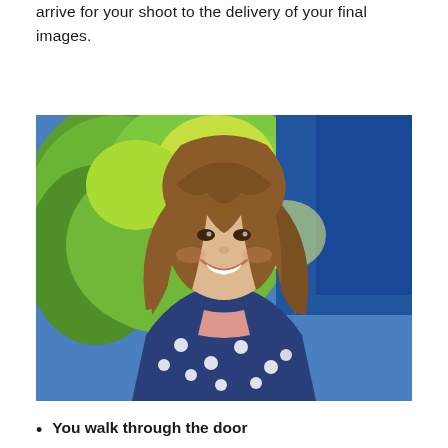arrive for your shoot to the delivery of your final images.
[Figure (photo): Portrait photo of a smiling young woman with long brown hair and bangs, wearing a navy blue polka dot top, with a blurred outdoor background of green trees and blue wall.]
You walk through the door